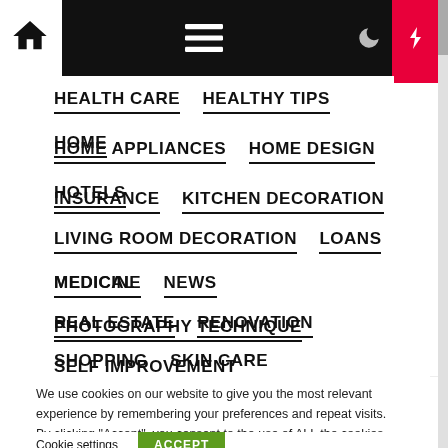Navigation bar with home, menu, moon, lightning, search icons
HEALTH CARE
HEALTHY TIPS
HOME
HOME APPLIANCES
HOME DESIGN
HOTELS
INSURANCE
KITCHEN DECORATION
LIVING ROOM DECORATION
LOANS
MEDICAL
MEDICINE
NEWS
PHOTOGRAPHY TECHNIQUE
REAL ESTATE
RENOVATION
SELF IMPROVEMENT
SHOPPING
SKIN CARE
SUPPLEMENT
We use cookies on our website to give you the most relevant experience by remembering your preferences and repeat visits. By clicking “Accept”, you consent to the use of ALL the cookies.
Cookie settings   ACCEPT